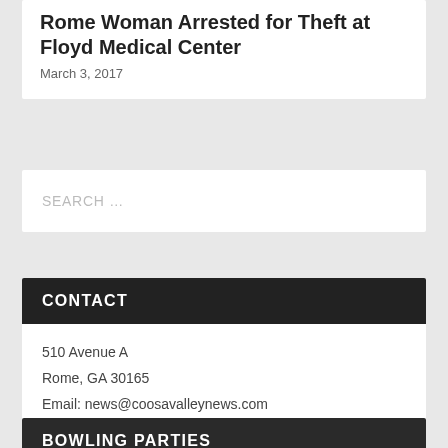Rome Woman Arrested for Theft at Floyd Medical Center
March 3, 2017
SEARCH ...
CONTACT
510 Avenue A
Rome, GA 30165
Email: news@coosavalleynews.com
Phone: (706) 234-0081
BOWLING PARTIES